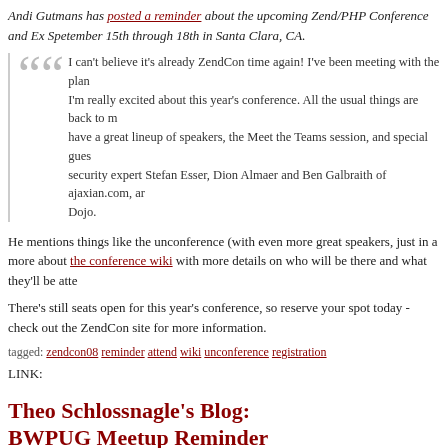Andi Gutmans has posted a reminder about the upcoming Zend/PHP Conference and Ex Spetember 15th through 18th in Santa Clara, CA.
I can't believe it's already ZendCon time again! I've been meeting with the plan I'm really excited about this year's conference. All the usual things are back to m have a great lineup of speakers, the Meet the Teams session, and special gues security expert Stefan Esser, Dion Almaer and Ben Galbraith of ajaxian.com, ar Dojo.
He mentions things like the unconference (with even more great speakers, just in a more about the conference wiki with more details on who will be there and what they'll be atte
There's still seats open for this year's conference, so reserve your spot today - check out the ZendCon site for more information.
tagged: zendcon08 reminder attend wiki unconference registration
LINK:
Theo Schlossnagle's Blog: BWPUG Meetup Reminder
byChris Cornutt MAY 14, 2008 @ 15:25:38
Those PHP developers that live around the Columbia, MD area might want to drop in to th